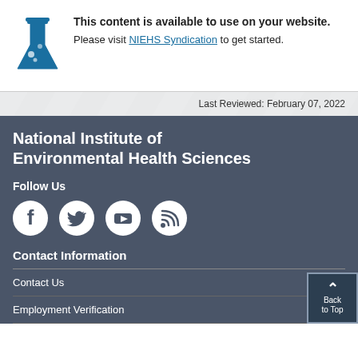[Figure (illustration): Blue flask/beaker laboratory icon]
This content is available to use on your website.
Please visit NIEHS Syndication to get started.
Last Reviewed: February 07, 2022
National Institute of Environmental Health Sciences
Follow Us
[Figure (illustration): Social media icons: Facebook, Twitter, YouTube, RSS feed]
Contact Information
Contact Us
Employment Verification